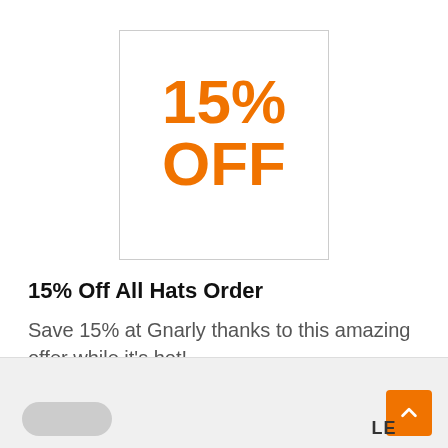[Figure (infographic): Orange bold text '15% OFF' inside a bordered white square box, serving as a coupon/discount graphic]
15% Off All Hats Order
Save 15% at Gnarly thanks to this amazing offer while it's hot!
GET CODE  LE
[Figure (other): Bottom navigation area with scroll-to-top orange button with up arrow and a circular thumbnail on the left]